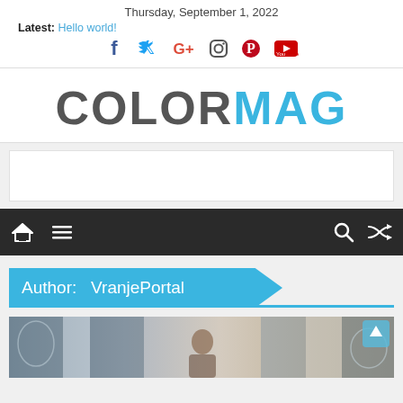Thursday, September 1, 2022
Latest: Hello world!
[Figure (infographic): Social media icons: Facebook, Twitter, Google+, Instagram, Pinterest, YouTube]
[Figure (logo): COLORMAG logo — COLOR in dark grey, MAG in light blue]
[Figure (other): Advertisement/banner placeholder box]
[Figure (infographic): Navigation bar with home icon, hamburger menu, search icon, shuffle icon on dark background]
Author:  VranjePortal
[Figure (photo): Partial view of an interior photo with decorative curtains/wallpaper and a person, blue tones]